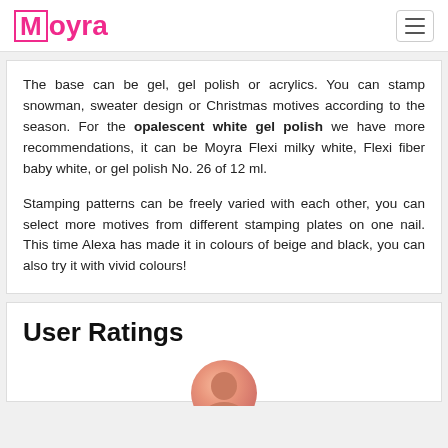Moyra
The base can be gel, gel polish or acrylics. You can stamp snowman, sweater design or Christmas motives according to the season. For the opalescent white gel polish we have more recommendations, it can be Moyra Flexi milky white, Flexi fiber baby white, or gel polish No. 26 of 12 ml.
Stamping patterns can be freely varied with each other, you can select more motives from different stamping plates on one nail. This time Alexa has made it in colours of beige and black, you can also try it with vivid colours!
User Ratings
[Figure (photo): Partial view of a person's avatar/profile photo showing top of head]